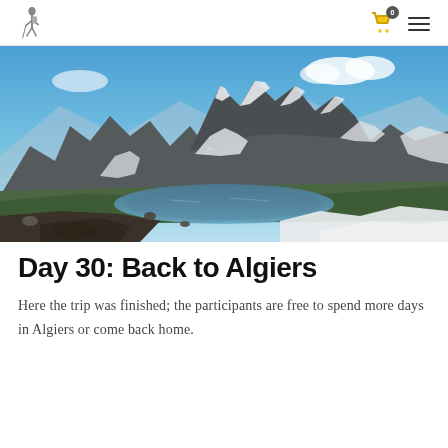Logo | Cart (0) | Menu
[Figure (photo): Alpine mountain landscape with a glacial lake in the foreground, steep rocky peaks with snow patches, blue sky with clouds — the Djurdjura mountains in Algeria]
Day 30: Back to Algiers
Here the trip was finished; the participants are free to spend more days in Algiers or come back home.